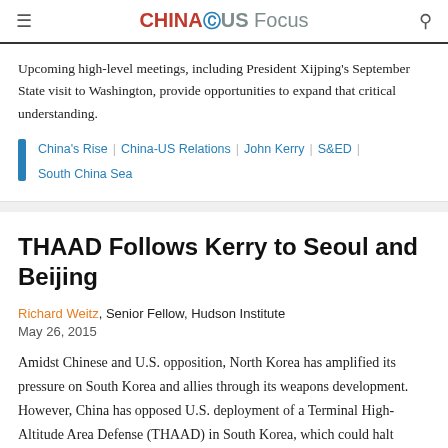CHINAUS Focus
Upcoming high-level meetings, including President Xijping's September State visit to Washington, provide opportunities to expand that critical understanding.
China's Rise | China-US Relations | John Kerry | S&ED | South China Sea
THAAD Follows Kerry to Seoul and Beijing
Richard Weitz, Senior Fellow, Hudson Institute
May 26, 2015
Amidst Chinese and U.S. opposition, North Korea has amplified its pressure on South Korea and allies through its weapons development. However, China has opposed U.S. deployment of a Terminal High-Altitude Area Defense (THAAD) in South Korea, which could halt progress.